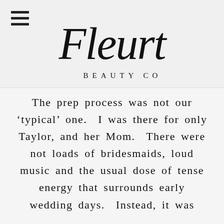[Figure (logo): Fleurt Beauty Co logo with cursive script 'Fleurt' above smaller spaced capitals 'BEAUTY CO']
The prep process was not our 'typical' one. I was there for only Taylor, and her Mom. There were not loads of bridesmaids, loud music and the usual dose of tense energy that surrounds early wedding days. Instead, it was